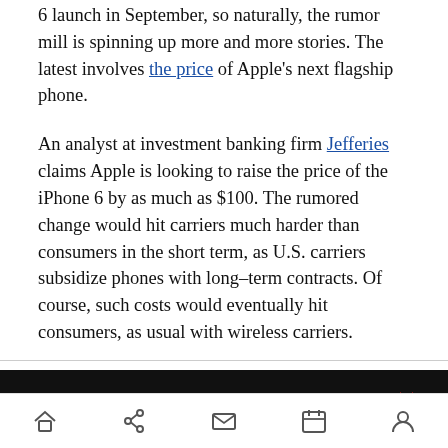6 launch in September, so naturally, the rumor mill is spinning up more and more stories. The latest involves the price of Apple's next flagship phone.
An analyst at investment banking firm Jefferies claims Apple is looking to raise the price of the iPhone 6 by as much as $100. The rumored change would hit carriers much harder than consumers in the short term, as U.S. carriers subsidize phones with long-term contracts. Of course, such costs would eventually hit consumers, as usual with wireless carriers.
[Figure (screenshot): Dark banner showing 174.9K views, 1 comment, and a red double-arrow navigation icon on right]
Home | Share | Mail | Calendar | Profile navigation icons